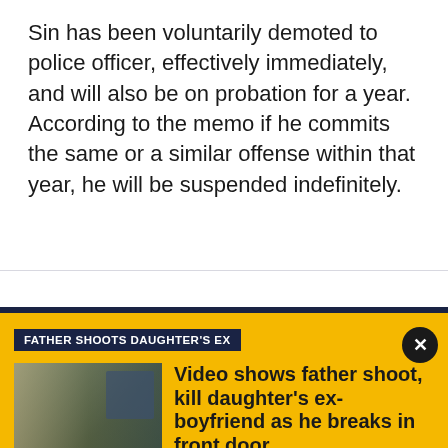Sin has been voluntarily demoted to police officer, effectively immediately, and will also be on probation for a year. According to the memo if he commits the same or a similar offense within that year, he will be suspended indefinitely.
[Figure (screenshot): News article promo card with yellow background. Tag reads 'FATHER SHOOTS DAUGHTER'S EX'. Thumbnail image of a doorbell camera scene. Headline: 'Video shows father shoot, kill daughter's ex-boyfriend as he breaks in front door'. Summary: 'An Ohio father will not face charges after shooting and killing his daughter's ex-boyfriend as he broke through their front door.']